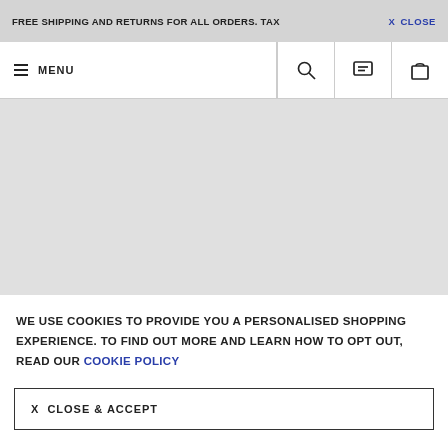FREE SHIPPING AND RETURNS FOR ALL ORDERS. TAX…  X  CLOSE
≡ MENU
[Figure (screenshot): E-commerce website navigation bar with hamburger menu, search icon, chat icon, and bag icon]
[Figure (photo): Large grey placeholder hero image area]
WE USE COOKIES TO PROVIDE YOU A PERSONALISED SHOPPING EXPERIENCE. TO FIND OUT MORE AND LEARN HOW TO OPT OUT, READ OUR COOKIE POLICY
X  CLOSE & ACCEPT